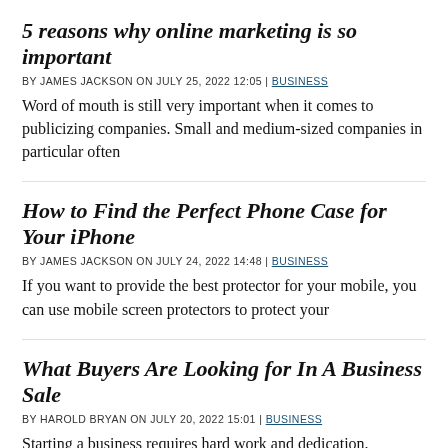5 reasons why online marketing is so important
BY JAMES JACKSON ON JULY 25, 2022 12:05 | BUSINESS
Word of mouth is still very important when it comes to publicizing companies. Small and medium-sized companies in particular often
How to Find the Perfect Phone Case for Your iPhone
BY JAMES JACKSON ON JULY 24, 2022 14:48 | BUSINESS
If you want to provide the best protector for your mobile, you can use mobile screen protectors to protect your
What Buyers Are Looking for In A Business Sale
BY HAROLD BRYAN ON JULY 20, 2022 15:01 | BUSINESS
Starting a business requires hard work and dedication.